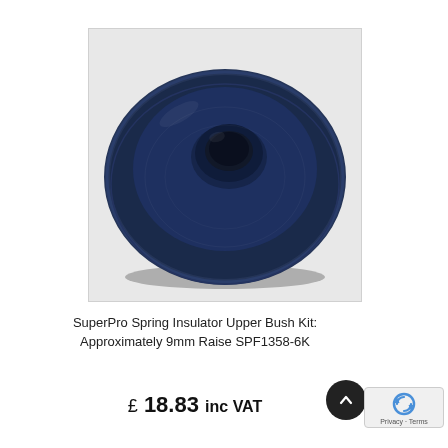[Figure (photo): Close-up photograph of a dark navy blue circular rubber spring insulator bush/washer with a central hole, shown against a white background. The part has a raised rim around the central hole and a flat outer edge.]
SuperPro Spring Insulator Upper Bush Kit: Approximately 9mm Raise SPF1358-6K
£ 18.83 inc VAT